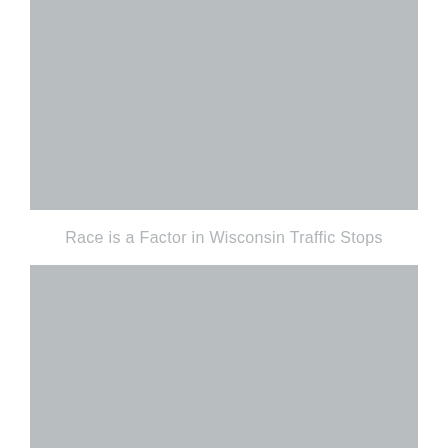[Figure (other): Gray placeholder image block at the top of the page]
Race is a Factor in Wisconsin Traffic Stops
[Figure (other): Gray placeholder image block at the bottom of the page]